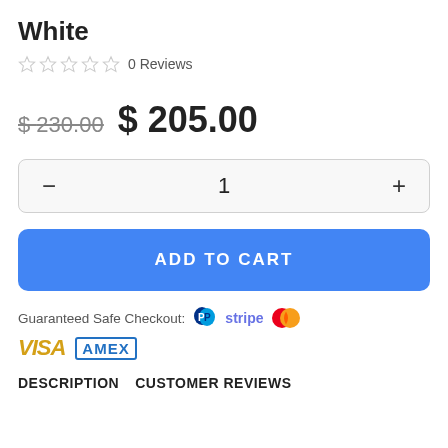White
0 Reviews
$ 230.00  $ 205.00
1
ADD TO CART
Guaranteed Safe Checkout:
[Figure (logo): PayPal logo, Stripe text logo, Mastercard logo, VISA logo, AMEX logo]
DESCRIPTION   CUSTOMER REVIEWS